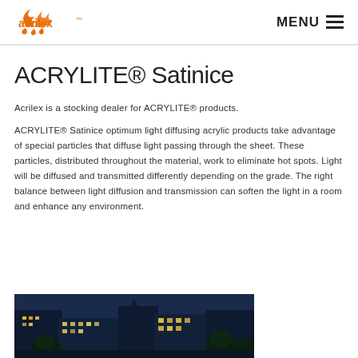Acrilex (logo) | MENU
ACRYLITE® Satinice
Acrilex is a stocking dealer for ACRYLITE® products.
ACRYLITE® Satinice optimum light diffusing acrylic products take advantage of special particles that diffuse light passing through the sheet. These particles, distributed throughout the material, work to eliminate hot spots. Light will be diffused and transmitted differently depending on the grade. The right balance between light diffusion and transmission can soften the light in a room and enhance any environment.
[Figure (photo): Night scene of a building with illuminated windows and trees in the foreground]